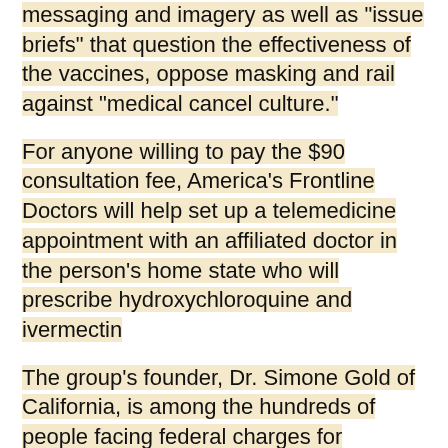messaging and imagery as well as "issue briefs" that question the effectiveness of the vaccines, oppose masking and rail against "medical cancel culture."
For anyone willing to pay the $90 consultation fee, America's Frontline Doctors will help set up a telemedicine appointment with an affiliated doctor in the person's home state who will prescribe hydroxychloroquine and ivermectin
The group's founder, Dr. Simone Gold of California, is among the hundreds of people facing federal charges for entering the U.S. Capitol during the deadly January 6 riots staged by Trump loyalists. In a video posted on the group's website, Gold states there is no health crisis and that "corrupt forces in the media, government and medicine have been lying to you."
Shervanick has posted numerous blogs to the website of America's Frontline Doctors, which lists her as a "medical contributor." In those blogs, she urged readers to stand